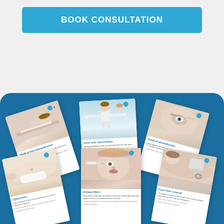BOOK CONSULTATION
[Figure (illustration): Fan of six medical/cosmetic procedure brochure cards arranged on a blue rounded panel background. Cards include: Medical microdermabrasion, Laser skin rejuvenation, Surgical dermabrasion (top row), and Liposuction, Dermal fillers, Laser hair removal (bottom row). Each card shows a photo and descriptive text.]